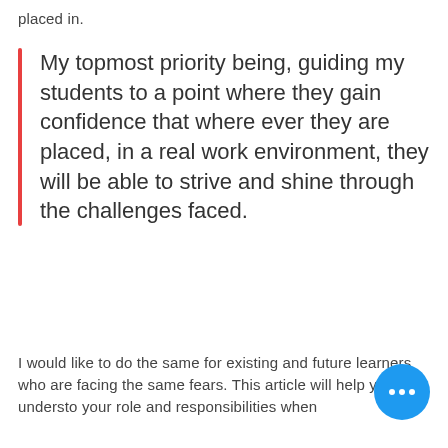placed in.
My topmost priority being, guiding my students to a point where they gain confidence that where ever they are placed, in a real work environment, they will be able to strive and shine through the challenges faced.
I would like to do the same for existing and future learners who are facing the same fears. This article will help you to understo your role and responsibilities when